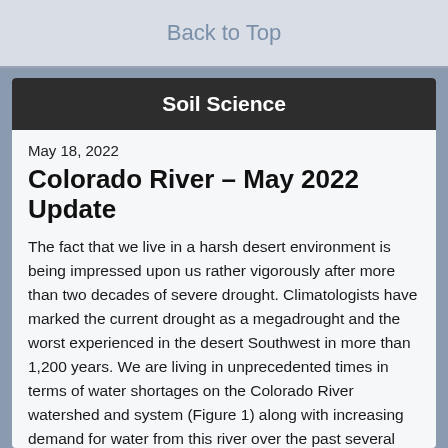Back to Top
Soil Science
May 18, 2022
Colorado River – May 2022 Update
The fact that we live in a harsh desert environment is being impressed upon us rather vigorously after more than two decades of severe drought.  Climatologists have marked the current drought as a megadrought and the worst experienced in the desert Southwest in more than 1,200 years.  We are living in unprecedented times in terms of water shortages on the Colorado River watershed and system (Figure 1) along with increasing demand for water from this river over the past several decades which is depleting the two giant reservoirs, Lakes Mead and Powell.  These conditions have resulted in the 2021 declaration by the U.S. Department of the